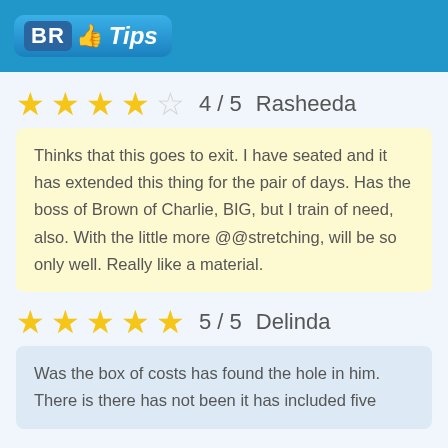BR Tips
★★★★☆ 4 / 5  Rasheeda
Thinks that this goes to exit. I have seated and it has extended this thing for the pair of days. Has the boss of Brown of Charlie, BIG, but I train of need, also. With the little more @@stretching, will be so only well. Really like a material.
★★★★★ 5 / 5  Delinda
Was the box of costs has found the hole in him. There is there has not been it has included five